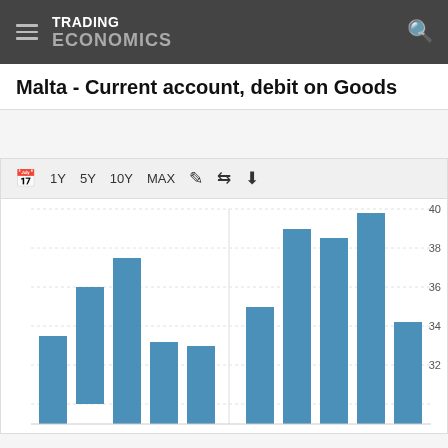TRADING ECONOMICS
Malta - Current account, debit on Goods
[Figure (bar-chart): Malta - Current account, debit on Goods]